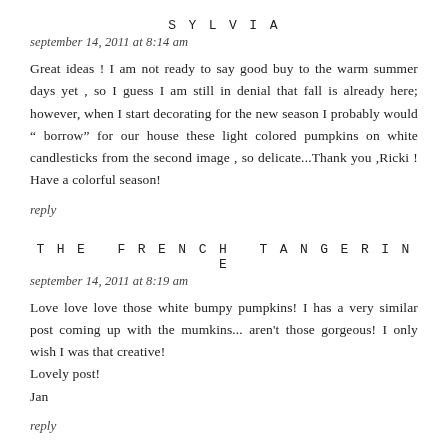SYLVIA
september 14, 2011 at 8:14 am
Great ideas ! I am not ready to say good buy to the warm summer days yet , so I guess I am still in denial that fall is already here; however, when I start decorating for the new season I probably would " borrow" for our house these light colored pumpkins on white candlesticks from the second image , so delicate...Thank you ,Ricki ! Have a colorful season!
reply
THE FRENCH TANGERINE
september 14, 2011 at 8:19 am
Love love love those white bumpy pumpkins! I has a very similar post coming up with the mumkins... aren't those gorgeous! I only wish I was that creative!
Lovely post!
Jan
reply